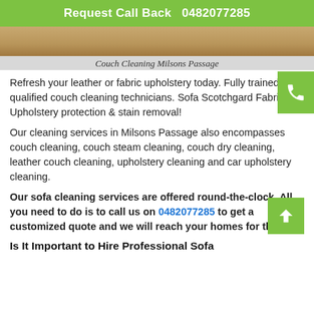Request Call Back   0482077285
[Figure (photo): Photo of a wooden surface (couch/furniture top)]
Couch Cleaning Milsons Passage
Refresh your leather or fabric upholstery today. Fully trained & qualified couch cleaning technicians. Sofa Scotchgard Fabric & Upholstery protection & stain removal!
Our cleaning services in Milsons Passage also encompasses couch cleaning, couch steam cleaning, couch dry cleaning, leather couch cleaning, upholstery cleaning and car upholstery cleaning.
Our sofa cleaning services are offered round-the-clock. All you need to do is to call us on 0482077285 to get a customized quote and we will reach your homes for the job!
Is It Important to Hire Professional Sofa